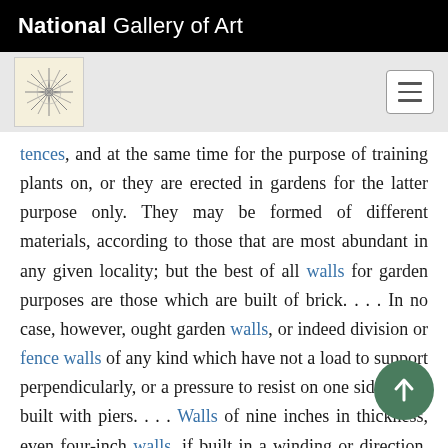National Gallery of Art
[Figure (logo): Navigation bar with a decorative logo/emblem on the left and a hamburger menu button on the right, on a gray background]
tences, and at the same time for the purpose of training plants on, or they are erected in gardens for the latter purpose only. They may be formed of different materials, according to those that are most abundant in any given locality; but the best of all walls for garden purposes are those which are built of brick. . . . In no case, however, ought garden walls, or indeed division or fence walls of any kind which have not a load to support perpendicularly, or a pressure to resist on one side, to be built with piers. . . . Walls of nine inches in thickness, even four-inch walls, if built in a winding or [direction, may be carried to a considerable height